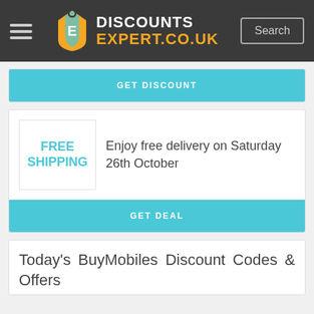[Figure (logo): DiscountsExpert.co.uk logo with orange/blue tag icon and site navigation header]
GET DISCOUNT
[Figure (infographic): FREE SHIPPING badge box]
Enjoy free delivery on Saturday 26th October
GET DEAL
Today's BuyMobiles Discount Codes & Offers